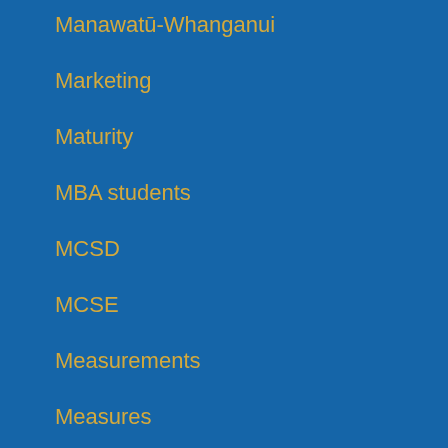Manawatū-Whanganui
Marketing
Maturity
MBA students
MCSD
MCSE
Measurements
Measures
Medalist
Medi…